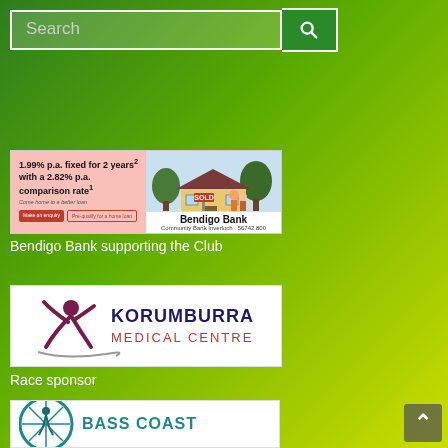[Figure (screenshot): Search input bar with green search button and magnifying glass icon]
[Figure (illustration): Bendigo Bank advertisement: 1.99% p.a. fixed for 2 years with a 2.82% p.a. comparison rate. Community Bank Inverloch 56742 800]
Bendigo Bank supporting the Club
[Figure (logo): Korumburra Medical Centre logo with red dancer figure]
Race sponsor
[Figure (logo): Bass Coast logo (partially visible at bottom)]